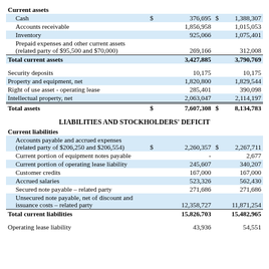|  | Col1 | Col2 |
| --- | --- | --- |
| Current assets |  |  |
| Cash | $ 376,695 | $ 1,388,307 |
| Accounts receivable | 1,856,958 | 1,015,053 |
| Inventory | 925,066 | 1,075,401 |
| Prepaid expenses and other current assets (related party of $95,500 and $70,000) | 269,166 | 312,008 |
| Total current assets | 3,427,885 | 3,790,769 |
| Security deposits | 10,175 | 10,175 |
| Property and equipment, net | 1,820,800 | 1,829,544 |
| Right of use asset - operating lease | 285,401 | 390,098 |
| Intellectual property, net | 2,063,047 | 2,114,197 |
| Total assets | $ 7,607,308 | $ 8,134,783 |
LIABILITIES AND STOCKHOLDERS' DEFICIT
|  | Col1 | Col2 |
| --- | --- | --- |
| Current liabilities |  |  |
| Accounts payable and accrued expenses (related party of $206,250 and $206,554) | $ 2,260,357 | $ 2,267,711 |
| Current portion of equipment notes payable | - | 2,677 |
| Current portion of operating lease liability | 245,607 | 340,207 |
| Customer credits | 167,000 | 167,000 |
| Accrued salaries | 523,326 | 562,430 |
| Secured note payable – related party | 271,686 | 271,686 |
| Unsecured note payable, net of discount and issuance costs – related party | 12,358,727 | 11,871,254 |
| Total current liabilities | 15,826,703 | 15,482,965 |
| Operating lease liability | 43,936 | 54,551 |